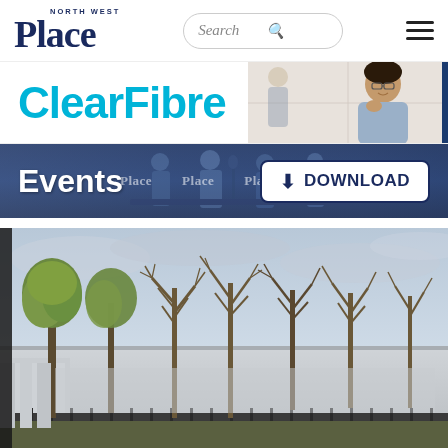[Figure (screenshot): Place North West website navigation bar with logo, search bar, and hamburger menu]
[Figure (screenshot): ClearFibre advertisement banner with cyan text and woman smiling in background]
[Figure (screenshot): Events bar with dark navy background showing people at conference, Events label on left and Download button on right]
[Figure (photo): Outdoor photo of trees (some leafy, some bare) in front of a large industrial or commercial building, overcast sky]